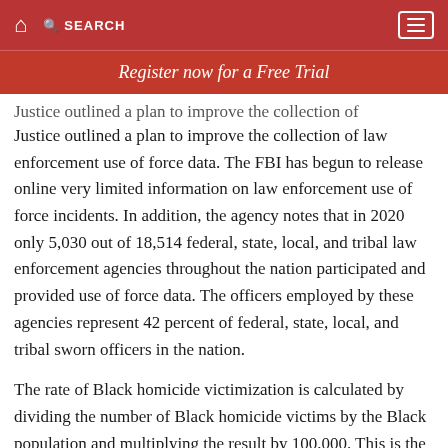🏠  SEARCH  ☰
Register now for a Free Trial
Justice outlined a plan to improve the collection of law enforcement use of force data. The FBI has begun to release online very limited information on law enforcement use of force incidents. In addition, the agency notes that in 2020 only 5,030 out of 18,514 federal, state, local, and tribal law enforcement agencies throughout the nation participated and provided use of force data. The officers employed by these agencies represent 42 percent of federal, state, local, and tribal sworn officers in the nation.
The rate of Black homicide victimization is calculated by dividing the number of Black homicide victims by the Black population and multiplying the result by 100,000. This is the